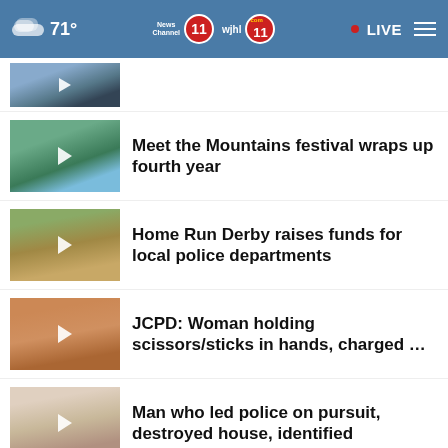71° | News Channel 11 | wjhl 11 | LIVE
[Figure (photo): Partial thumbnail of a news story at top]
Meet the Mountains festival wraps up fourth year
Home Run Derby raises funds for local police departments
JCPD: Woman holding scissors/sticks in hands, charged …
Man who led police on pursuit, destroyed house, identified
More Stories ›